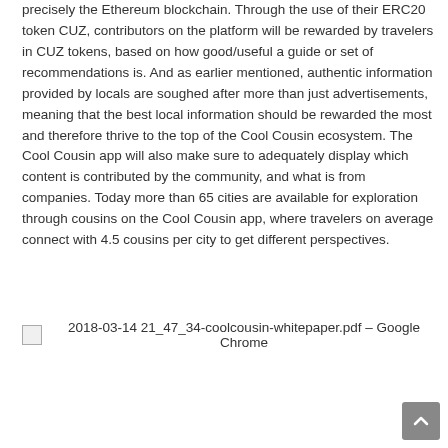precisely the Ethereum blockchain. Through the use of their ERC20 token CUZ, contributors on the platform will be rewarded by travelers in CUZ tokens, based on how good/useful a guide or set of recommendations is. And as earlier mentioned, authentic information provided by locals are soughed after more than just advertisements, meaning that the best local information should be rewarded the most and therefore thrive to the top of the Cool Cousin ecosystem. The Cool Cousin app will also make sure to adequately display which content is contributed by the community, and what is from companies. Today more than 65 cities are available for exploration through cousins on the Cool Cousin app, where travelers on average connect with 4.5 cousins per city to get different perspectives.
[Figure (screenshot): Screenshot label: 2018-03-14 21_47_34-coolcousin-whitepaper.pdf – Google Chrome]